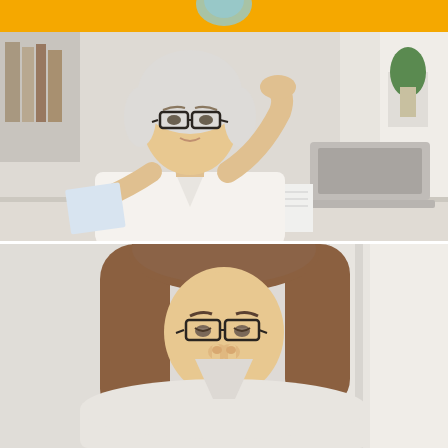[Figure (photo): Orange/yellow banner bar at the top of the page with partial illustration elements visible]
[Figure (photo): Older woman with white/grey hair and glasses sitting at a desk, holding a document in one hand and touching her forehead with the other, looking stressed or confused. A laptop and notebook are on the desk beside her. Office/home office background.]
[Figure (photo): Younger woman with brown hair and glasses looking down, pinching the bridge of her nose as if stressed or frustrated. Blurred bright background.]